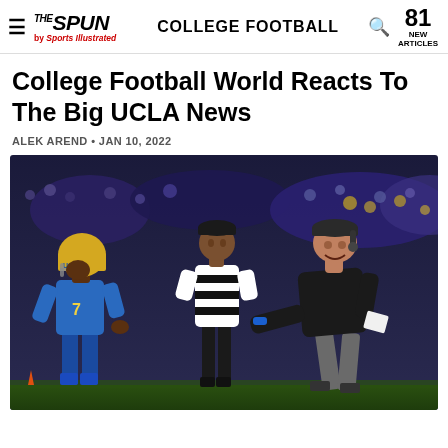THE SPUN by Sports Illustrated — COLLEGE FOOTBALL — 81 NEW ARTICLES
College Football World Reacts To The Big UCLA News
ALEK AREND • JAN 10, 2022
[Figure (photo): UCLA football player wearing blue uniform and gold helmet number 7 fist-bumping with a coach in black attire, a referee in black and white stripes stands between them on the sideline during a night game]